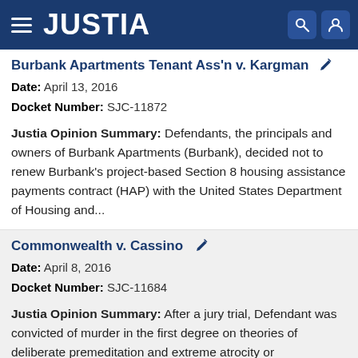JUSTIA
Burbank Apartments Tenant Ass'n v. Kargman
Date: April 13, 2016
Docket Number: SJC-11872
Justia Opinion Summary: Defendants, the principals and owners of Burbank Apartments (Burbank), decided not to renew Burbank's project-based Section 8 housing assistance payments contract (HAP) with the United States Department of Housing and...
Commonwealth v. Cassino
Date: April 8, 2016
Docket Number: SJC-11684
Justia Opinion Summary: After a jury trial, Defendant was convicted of murder in the first degree on theories of deliberate premeditation and extreme atrocity or